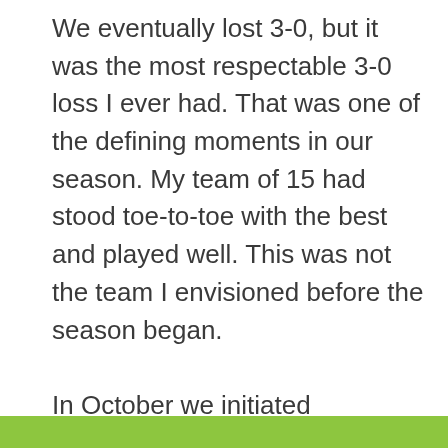We eventually lost 3-0, but it was the most respectable 3-0 loss I ever had. That was one of the defining moments in our season. My team of 15 had stood toe-to-toe with the best and played well. This was not the team I envisioned before the season began.

In October we initiated “Shutoutober”, refusing to allow any team to score on us during the month of October. The result was five scoreless games in a row, one tie (against North Central, of course) and four victories. The streak ended on a bad call in a conference tournament game late in the